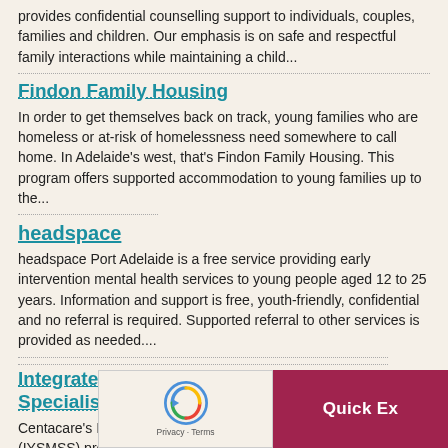provides confidential counselling support to individuals, couples, families and children. Our emphasis is on safe and respectful family interactions while maintaining a child...
Findon Family Housing
In order to get themselves back on track, young families who are homeless or at-risk of homelessness need somewhere to call home.  In Adelaide's west, that's Findon Family Housing. This program offers supported accommodation to young families up to the...
headspace
headspace Port Adelaide is a free service providing early intervention mental health services to young people aged 12 to 25 years. Information and support is free, youth-friendly, confidential and no referral is required. Supported referral to other services is provided as needed....
Integrated Youth Substance Misuse Specialist Service – Alban Place
Centacare's Integrated Youth Substance Misuse Service (IYSMSS) provides an integrated model young people aged 12-24 years with issues aro